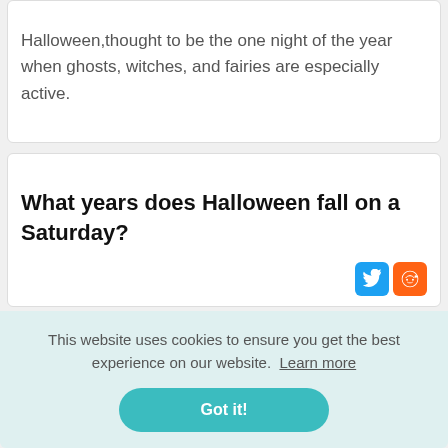Halloween,thought to be the one night of the year when ghosts, witches, and fairies are especially active.
What years does Halloween fall on a Saturday?
This website uses cookies to ensure you get the best experience on our website. Learn more